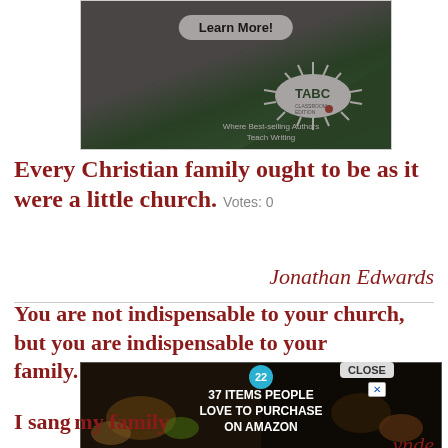[Figure (photo): Advertisement banner for TABC Classroom Edition — photo of students in classroom, 'Learn More!' button, 'Where Best-selling Authors Teach Writing' tagline]
Every Christian family ought to be as it were a little church.  Votes: 0
Jonathan Edwards
You are not indispensable to your church, but you are indispensable to your family.  Votes: 0
Adam Hamilton
[Figure (photo): Overlay advertisement: '22' badge, '37 ITEMS PEOPLE LOVE TO PURCHASE ON AMAZON' with food/kitchen images, CLOSE button and X close control]
I sang... my family...  Votes: 0
...ynde